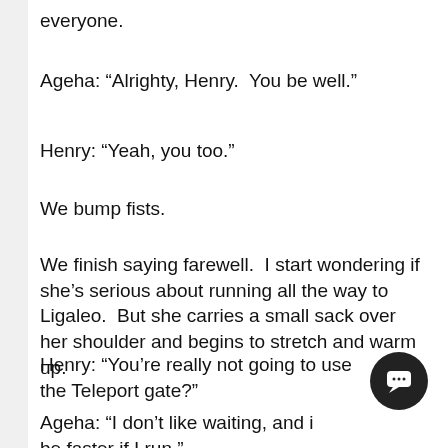everyone.
Ageha: “Alrighty, Henry.  You be well.”
Henry: “Yeah, you too.”
We bump fists.
We finish saying farewell.  I start wondering if she’s serious about running all the way to Ligaleo.  But she carries a small sack over her shoulder and begins to stretch and warm up.
Henry: “You’re really not going to use the Teleport gate?”
Ageha: “I don’t like waiting, and it’ll be faster if I run.”